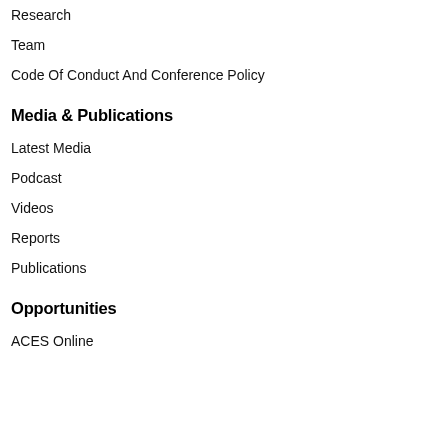Research
Team
Code Of Conduct And Conference Policy
Media & Publications
Latest Media
Podcast
Videos
Reports
Publications
Opportunities
ACES Online